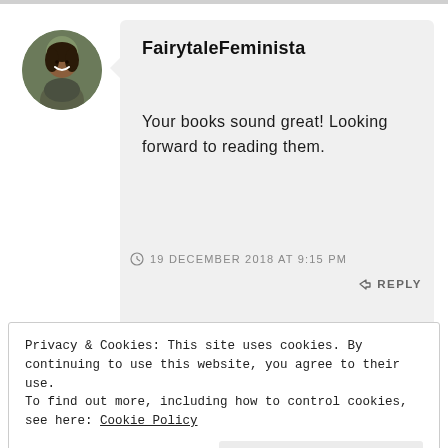[Figure (photo): Circular avatar photo of a woman, smiling, with green/dark background]
FairytaleFeminista
Your books sound great! Looking forward to reading them.
19 DECEMBER 2018 AT 9:15 PM
↳ REPLY
Privacy & Cookies: This site uses cookies. By continuing to use this website, you agree to their use.
To find out more, including how to control cookies, see here: Cookie Policy
Close and accept